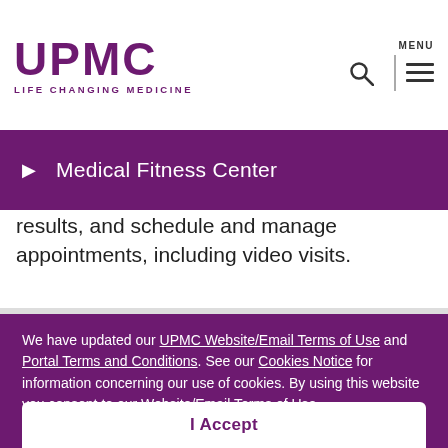[Figure (logo): UPMC logo with text 'UPMC' in large purple letters and 'LIFE CHANGING MEDICINE' below]
[Figure (screenshot): Search icon and hamburger menu icon with MENU label]
Medical Fitness Center
results, and schedule and manage appointments, including video visits.
We have updated our UPMC Website/Email Terms of Use and Portal Terms and Conditions. See our Cookies Notice for information concerning our use of cookies. By using this website you consent to our Website/Email Terms of Use.
I Accept